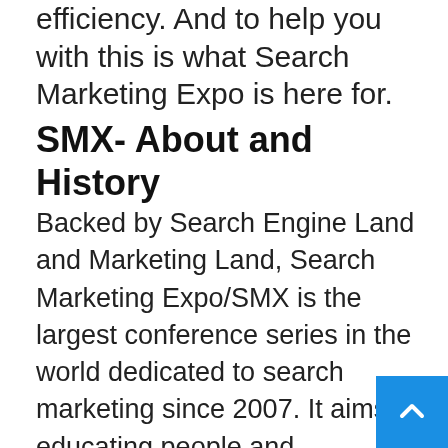efficiency. And to help you with this is what Search Marketing Expo is here for.
SMX- About and History
Backed by Search Engine Land and Marketing Land, Search Marketing Expo/SMX is the largest conference series in the world dedicated to search marketing since 2007. It aims at educating people and spreading awareness about search engine marketing while also helping existing search marketers overcome marketing challenges and hone their skills.